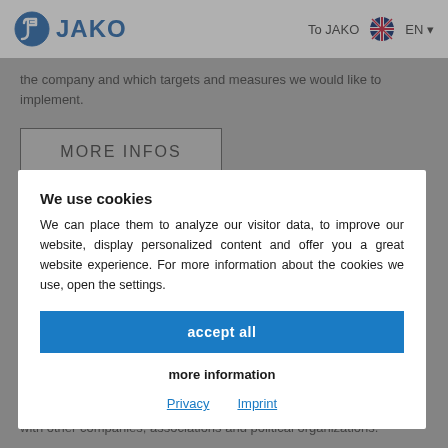JAKO | To JAKO | EN
the company and which targets and measures we would like to implement.
MORE INFOS
We use cookies
We can place them to analyze our visitor data, to improve our website, display personalized content and offer you a great website experience. For more information about the cookies we use, open the settings.
accept all
more information
Privacy   Imprint
with other companies, associations and political organizations.